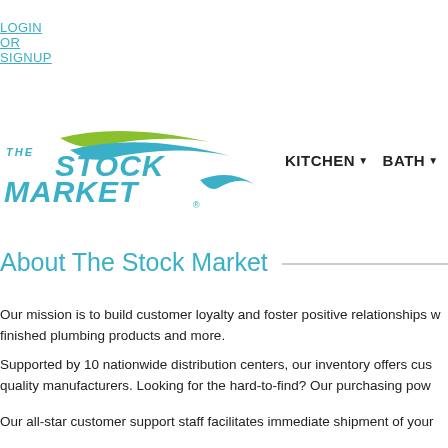LOGIN OR SIGNUP
[Figure (logo): The Stock Market logo — blue bold italic text 'THE STOCK MARKET' with a green and blue swoosh wave above]
About The Stock Market
Our mission is to build customer loyalty and foster positive relationships with finished plumbing products and more.
Supported by 10 nationwide distribution centers, our inventory offers customers quality manufacturers. Looking for the hard-to-find? Our purchasing power
Our all-star customer support staff facilitates immediate shipment of your